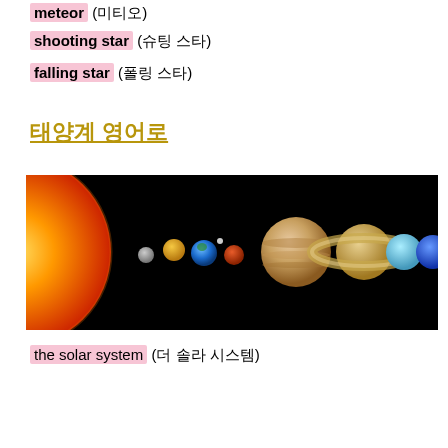meteor (미티오)
shooting star (슈팅 스타)
falling star (폴링 스타)
태양계 영어로
[Figure (photo): Photo of the solar system showing the Sun on the left with all eight planets lined up against a black background, from Mercury to Neptune.]
the solar system (더 솔라 시스템)